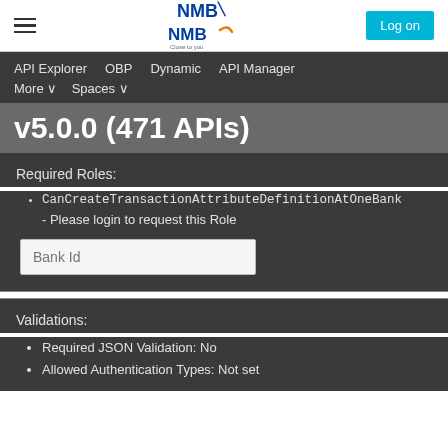NMB | Close to you — Log on
API Explorer   OBP   Dynamic   API Manager   More ∨   Spaces ∨
v5.0.0 (471 APIs)
Required Roles:
CanCreateTransactionAttributeDefinitionAtOneBank - Please login to request this Role
Bank Id
Validations:
Required JSON Validation: No
Allowed Authentication Types: Not set